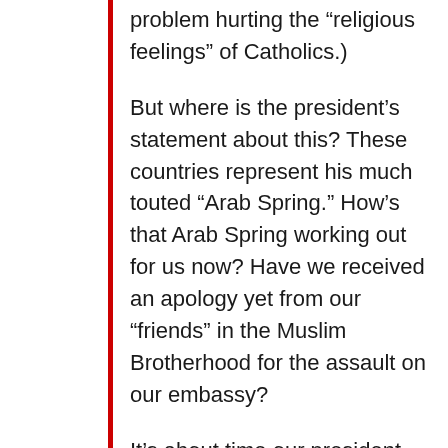problem hurting the “religious feelings” of Catholics.)
But where is the president’s statement about this? These countries represent his much touted “Arab Spring.” How’s that Arab Spring working out for us now? Have we received an apology yet from our “friends” in the Muslim Brotherhood for the assault on our embassy?
It’s about time our president stood up for America and condemned these Islamic extremists. I realize there must be a lot on his mind these days – what with our economy’s abysmal jobless numbers and Moody’s new warning about yet another